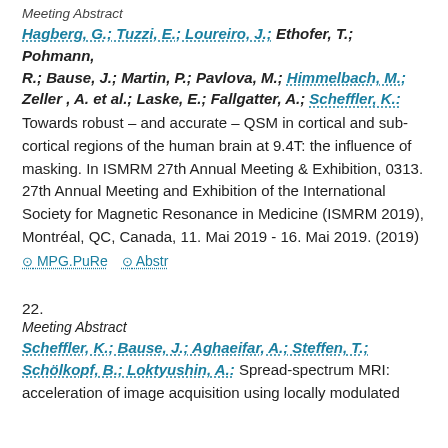Meeting Abstract
Hagberg, G.; Tuzzi, E.; Loureiro, J.; Ethofer, T.; Pohmann, R.; Bause, J.; Martin, P.; Pavlova, M.; Himmelbach, M.; Zeller , A. et al.; Laske, E.; Fallgatter, A.; Scheffler, K.: Towards robust – and accurate – QSM in cortical and sub-cortical regions of the human brain at 9.4T: the influence of masking. In ISMRM 27th Annual Meeting & Exhibition, 0313. 27th Annual Meeting and Exhibition of the International Society for Magnetic Resonance in Medicine (ISMRM 2019), Montréal, QC, Canada, 11. Mai 2019 - 16. Mai 2019. (2019)
⊙ MPG.PuRe   ⊙ Abstr
22.
Meeting Abstract
Scheffler, K.; Bause, J.; Aghaeifar, A.; Steffen, T.; Schölkopf, B.; Loktyushin, A.: Spread-spectrum MRI: acceleration of image acquisition using locally modulated